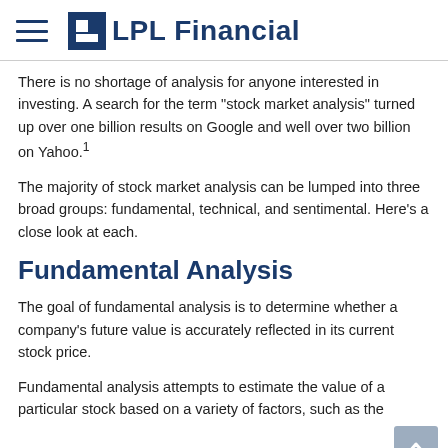LPL Financial
There is no shortage of analysis for anyone interested in investing. A search for the term "stock market analysis" turned up over one billion results on Google and well over two billion on Yahoo.¹
The majority of stock market analysis can be lumped into three broad groups: fundamental, technical, and sentimental. Here's a close look at each.
Fundamental Analysis
The goal of fundamental analysis is to determine whether a company's future value is accurately reflected in its current stock price.
Fundamental analysis attempts to estimate the value of a particular stock based on a variety of factors, such as the